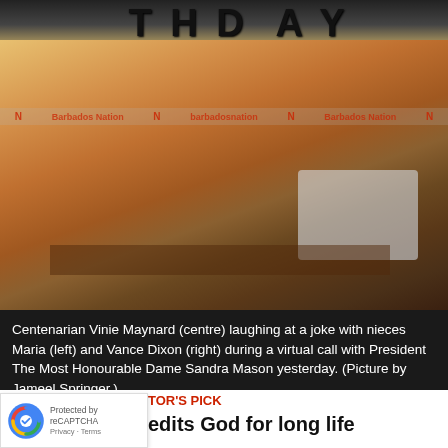[Figure (photo): Centenarian Vinie Maynard (centre) laughing with nieces Maria (left) and Vance Dixon (right) at a birthday celebration with gold foil curtains and black birthday balloons in the background. A laptop is visible on a table. The Barbados Nation watermark is overlaid on the image.]
Centenarian Vinie Maynard (centre) laughing at a joke with nieces Maria (left) and Vance Dixon (right) during a virtual call with President The Most Honourable Dame Sandra Mason yesterday. (Picture by Jameel Springer.)
TORS PICK
edits God for long life